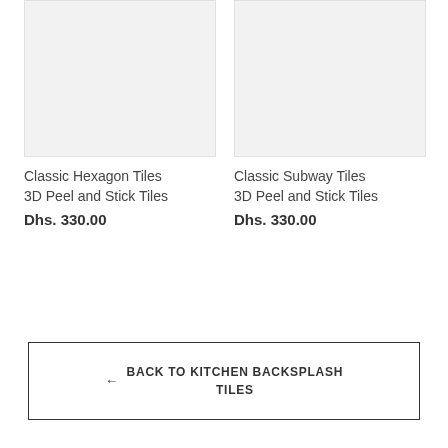[Figure (photo): Product image placeholder for Classic Hexagon Tiles, light gray background]
Classic Hexagon Tiles 3D Peel and Stick Tiles
Dhs. 330.00
[Figure (photo): Product image placeholder for Classic Subway Tiles, light gray background]
Classic Subway Tiles 3D Peel and Stick Tiles
Dhs. 330.00
← BACK TO KITCHEN BACKSPLASH TILES